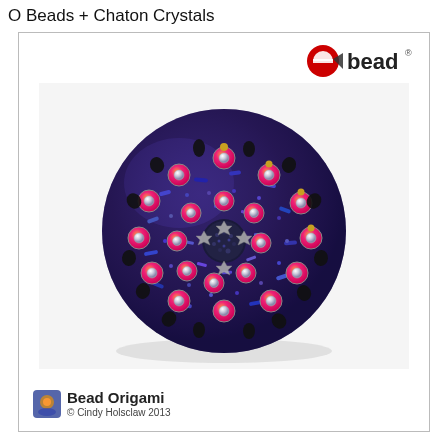O Beads + Chaton Crystals
[Figure (photo): A decorative beaded sphere/bead work featuring purple, pink, orange, red, and silver beads arranged in an intricate floral pattern with chaton crystals, black accent beads, and O-beads creating a ornate ball structure against a white background. The piece is created by Bead Origami / Cindy Holsclaw. The ebead logo appears in the upper right corner of the card.]
Bead Origami
© Cindy Holsclaw 2013